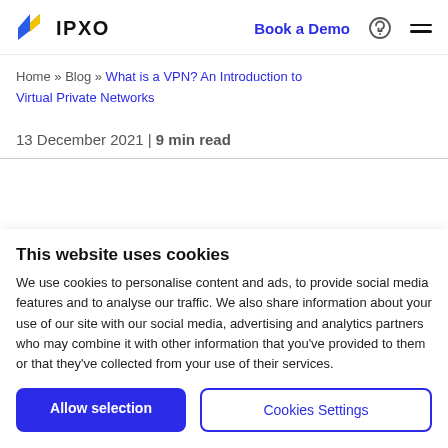IPXO | Book a Demo
Home » Blog » What is a VPN? An Introduction to Virtual Private Networks
13 December 2021 | 9 min read
This website uses cookies
We use cookies to personalise content and ads, to provide social media features and to analyse our traffic. We also share information about your use of our site with our social media, advertising and analytics partners who may combine it with other information that you've provided to them or that they've collected from your use of their services.
Allow selection | Cookies Settings